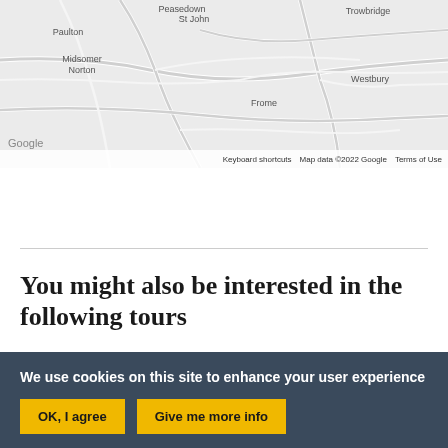[Figure (map): Google Maps screenshot showing a region in England including Paulton, Peasedown St John, Midsomer Norton, Trowbridge, Westbury, and Frome with road network overlaid on light grey background.]
You might also be interested in the following tours
We use cookies on this site to enhance your user experience
OK, I agree | Give me more info